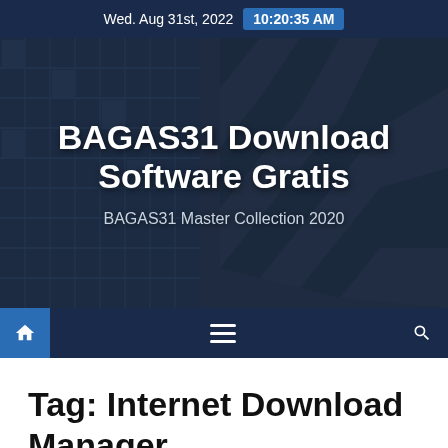Wed. Aug 31st, 2022  10:20:35 AM
[Figure (screenshot): Hero banner with dark building glass facade background, showing website title 'BAGAS31 Download Software Gratis' and subtitle 'BAGAS31 Master Collection 2020']
BAGAS31 Download Software Gratis
BAGAS31 Master Collection 2020
Tag: Internet Download Manager